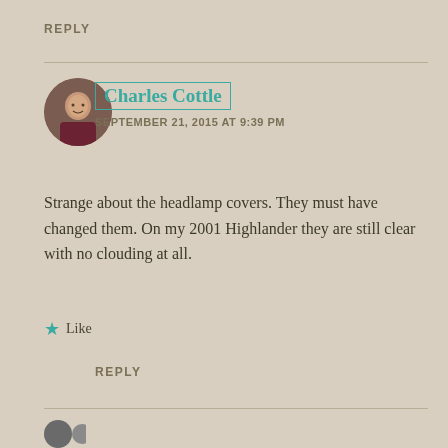REPLY
Charles Cottle
SEPTEMBER 21, 2015 AT 9:39 PM
Strange about the headlamp covers. They must have changed them. On my 2001 Highlander they are still clear with no clouding at all.
Like
REPLY